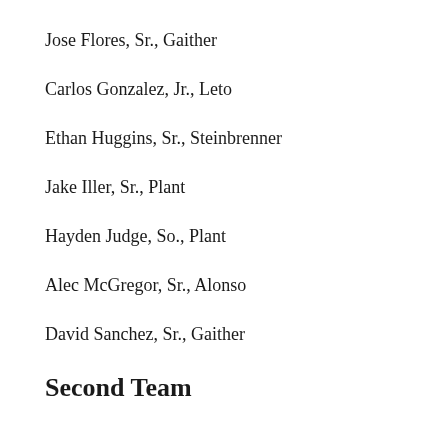Jose Flores, Sr., Gaither
Carlos Gonzalez, Jr., Leto
Ethan Huggins, Sr., Steinbrenner
Jake Iller, Sr., Plant
Hayden Judge, So., Plant
Alec McGregor, Sr., Alonso
David Sanchez, Sr., Gaither
Second Team